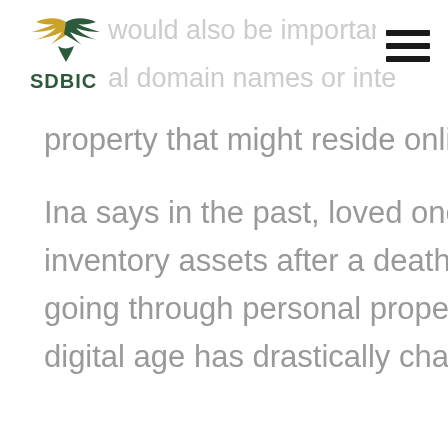[Figure (logo): SDBIC logo with eagle wing in green and gold, company name SDBIC in dark green below]
would also be important... al domain names or inte...
property that might reside onlin...
Ina says in the past, loved ones ... inventory assets after a death b... going through personal propert... digital age has drastically change...